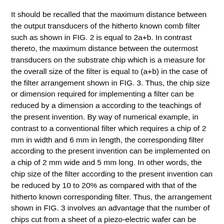It should be recalled that the maximum distance between the output transducers of the hitherto known comb filter such as shown in FIG. 2 is equal to 2a+b. In contrast thereto, the maximum distance between the outermost transducers on the substrate chip which is a measure for the overall size of the filter is equal to (a+b) in the case of the filter arrangement shown in FIG. 3. Thus, the chip size or dimension required for implementing a filter can be reduced by a dimension a according to the teachings of the present invention. By way of numerical example, in contrast to a conventional filter which requires a chip of 2 mm in width and 6 mm in length, the corresponding filter according to the present invention can be implemented on a chip of 2 mm wide and 5 mm long. In other words, the chip size of the filter according to the present invention can be reduced by 10 to 20% as compared with that of the hitherto known corresponding filter. Thus, the arrangement shown in FIG. 3 involves an advantage that the number of chips cut from a sheet of a piezo-electric wafer can be increased.
It is believed that the disposition of the two output transducers at both sides of the interposed input transducer shown in FIG. 2 is intended to increase the utility efficiency of the surface acoustic waves produced from both sides of the input transducer and to equalize the output amplitude. In this context, examination has been made of the arrangement shown in FIG. 3. It has been found that an energy level of the surface acoustic wave picked up by the output transducers 14 and 15 to be converted into the corresponding